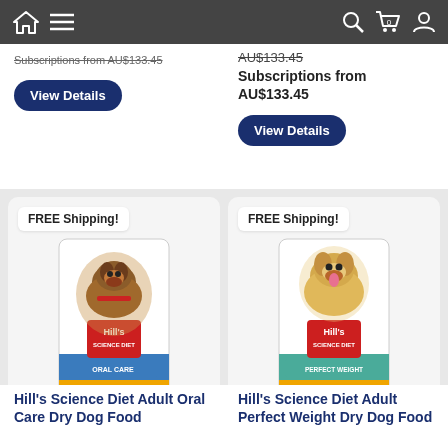Navigation bar with home, menu, search, cart (0), and account icons
Subscriptions from AU$133.45
AU$133.45
Subscriptions from
AU$133.45
View Details
View Details
[Figure (photo): Hill's Science Diet Adult Oral Care dry dog food bag featuring a dachshund dog, with FREE Shipping! badge]
[Figure (photo): Hill's Science Diet Adult Perfect Weight dry dog food bag featuring a golden retriever dog, with FREE Shipping! badge]
Hill's Science Diet Adult Oral Care Dry Dog Food
Hill's Science Diet Adult Perfect Weight Dry Dog Food